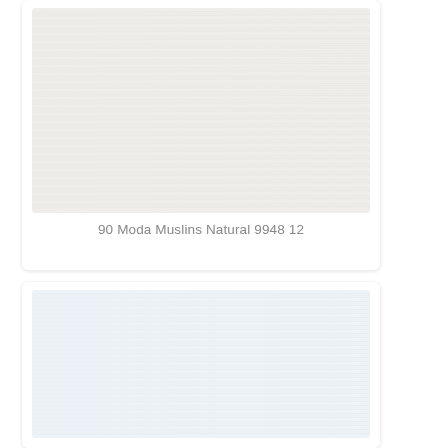[Figure (photo): Close-up photograph of a natural/off-white woven muslin fabric texture with horizontal weave lines, slightly warm tone.]
90 Moda Muslins Natural 9948 12
[Figure (photo): Close-up photograph of a very pale blue/white woven fabric texture, lighter and cooler toned than the first swatch.]